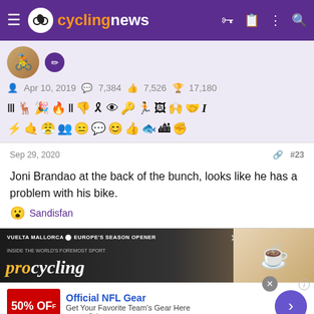cyclingnews
[Figure (screenshot): User profile area with avatar, badge icon, stats (Apr 10, 2019; 7,384 messages; 7,526 likes; 17,180 points), and rows of achievement badge icons]
Sep 29, 2020  #23
Joni Brandao at the back of the bunch, looks like he has a problem with his bike.
😮 Sandisfan
[Figure (screenshot): Advertisement banner showing cycling magazine with coffee cup, and NFL Gear ad: Official NFL Gear - Get Your Favorite Team's Gear Here - www.nflshop.com - 50% OFF]